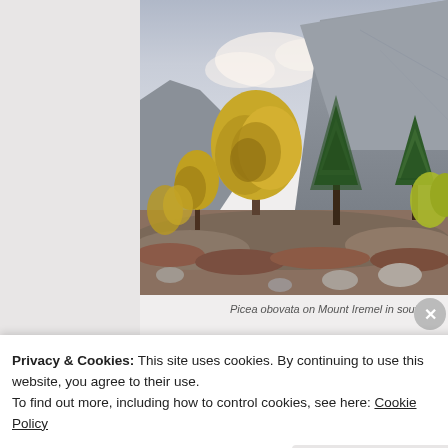[Figure (photo): Photograph of Picea obovata trees on Mount Iremel in autumn, with mountain slope in background and overcast sky. Yellow-leafed deciduous trees and green conifers in foreground, rocky terrain visible.]
Picea obovata on Mount Iremel in sout
Privacy & Cookies: This site uses cookies. By continuing to use this website, you agree to their use.
To find out more, including how to control cookies, see here: Cookie Policy
Close and accept